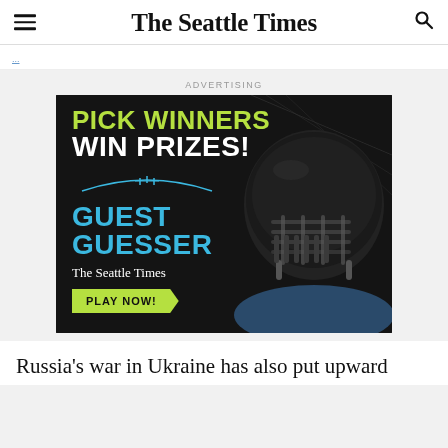The Seattle Times
ADVERTISING
[Figure (advertisement): The Seattle Times Guest Guesser advertisement. Dark background with a football player wearing a black helmet. Text reads: PICK WINNERS WIN PRIZES! GUEST GUESSER The Seattle Times. PLAY NOW! button in yellow-green.]
Russia’s war in Ukraine has also put upward